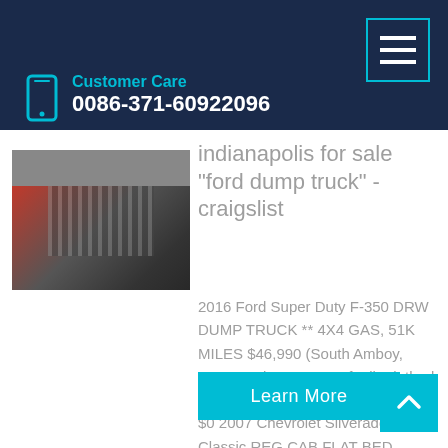Customer Care
0086-371-60922096
[Figure (photo): Thumbnail image of a truck engine/undercarriage, reddish and dark tones]
indianapolis for sale "ford dump truck" - craigslist
2016 Ford Super Duty F-350 DRW DUMP TRUCK ** 4X4 GAS, 51K MILES $46,990 (South Amboy, 2019 Ford F350 XL - 9ft Tilt Flatbed Box Utility Service - 4WD 6.2L V8 $0 2007 Chevrolet Silverado 3500 Classic REG CAB FLAT BED, ROOF RACK,, 32 $23,990 (South Amboy,
Learn More